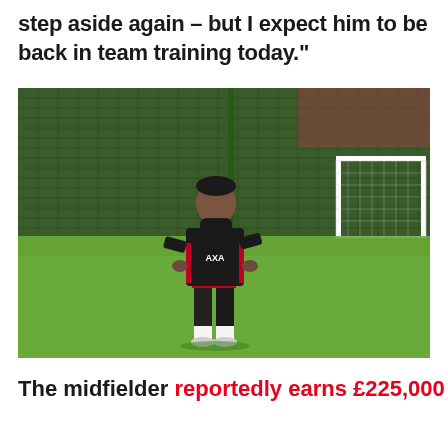step aside again – but I expect him to be back in team training today."
[Figure (photo): A footballer in a black training kit with red accents (AXA sponsor logo) standing on a green training pitch with a goal and green netting fence visible in the background.]
The midfielder reportedly earns £225,000